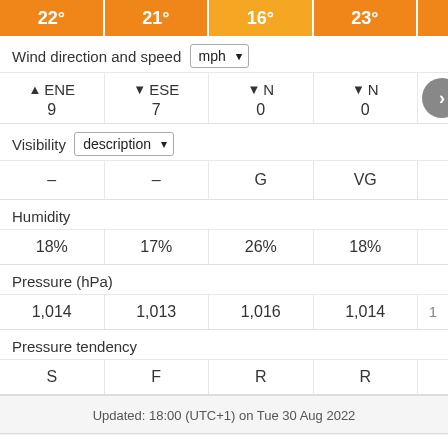| 22° | 21° | 16° | 23° |  |
| --- | --- | --- | --- | --- |
| ▲ ENE
9 | ▼ ESE
7 | ▼ N
0 | ▼ N
0 |  |
| – | – | G | VG |  |
| 18% | 17% | 26% | 18% |  |
| 1,014 | 1,013 | 1,016 | 1,014 |  |
| S | F | R | R |  |
Wind direction and speed  mph
Visibility  description
Humidity
Pressure (hPa)
Pressure tendency
Updated: 18:00 (UTC+1) on Tue 30 Aug 2022
FORECAST ›